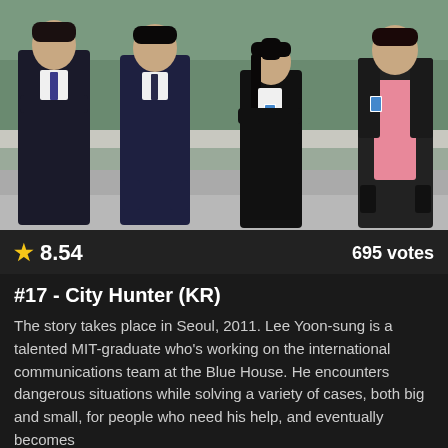[Figure (photo): Four cast members of City Hunter (KR) posing outdoors. Two men in dark suits on the left, a woman in black suit with ID badge in the middle-right, and a man in leather jacket with pink shirt on the far right. Outdoor setting with greenery and road in background.]
★ 8.54    695 votes
#17 - City Hunter (KR)
The story takes place in Seoul, 2011. Lee Yoon-sung is a talented MIT-graduate who's working on the international communications team at the Blue House. He encounters dangerous situations while solving a variety of cases, both big and small, for people who need his help, and eventually becomes